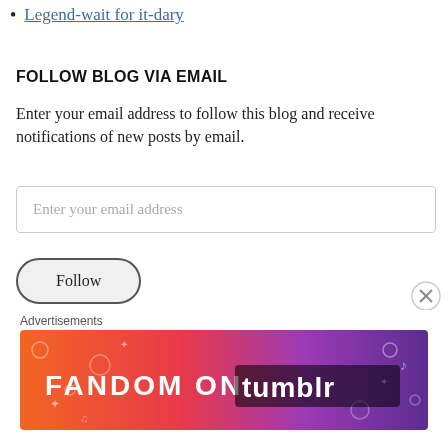Legend-wait for it-dary
FOLLOW BLOG VIA EMAIL
Enter your email address to follow this blog and receive notifications of new posts by email.
Enter your email address
Follow
Join 1,016 other followers
BASEBALL PARKS VISITED (74)
Alliance Bank Stadium(2012)
Advertisements
[Figure (illustration): Fandom on Tumblr advertisement banner with colorful gradient background from orange to purple with white doodle icons.]